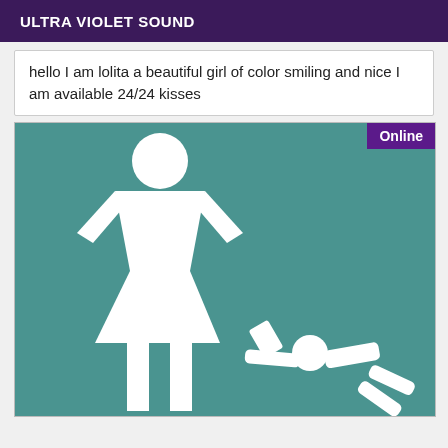ULTRA VIOLET SOUND
hello I am lolita a beautiful girl of color smiling and nice I am available 24/24 kisses
[Figure (illustration): Teal textured background with white pictogram stick figures: a woman standing with hands on hips wearing a dress, and a crawling figure below to the right. An 'Online' badge in purple appears in the top-right corner of the image.]